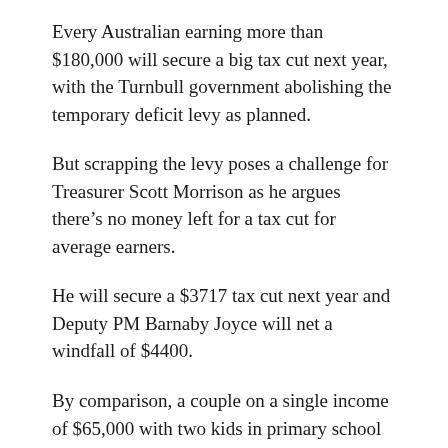Every Australian earning more than $180,000 will secure a big tax cut next year, with the Turnbull government abolishing the temporary deficit levy as planned.
But scrapping the levy poses a challenge for Treasurer Scott Morrison as he argues there’s no money left for a tax cut for average earners.
He will secure a $3717 tax cut next year and Deputy PM Barnaby Joyce will net a windfall of $4400.
By comparison, a couple on a single income of $65,000 with two kids in primary school stand to gain $525 from